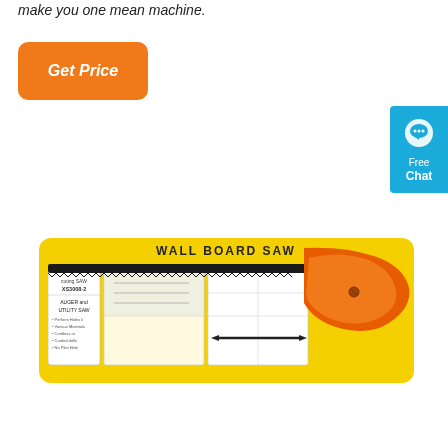make you one mean machine.
Get Price
[Figure (illustration): Blue chat widget button with speech bubble icon, text 'Free Chat']
[Figure (photo): Wall Board Saw product in yellow packaging. The packaging shows a metal saw blade with orange plastic handle. Label reads 'WALL BOARD SAW', 'XS3008-2', 'AUGER and UTILITY SAW'. Product has a long dark serrated blade and bright orange pistol-grip handle.]